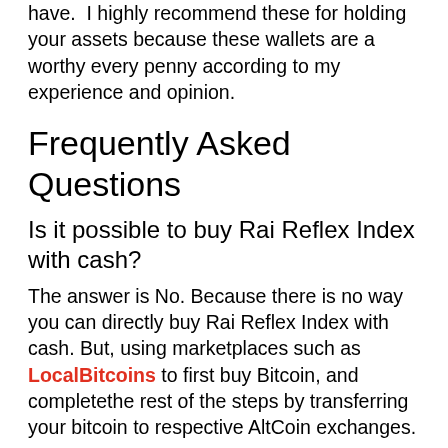have. I highly recommend these for holding your assets because these wallets are a worthy every penny according to my experience and opinion.
Frequently Asked Questions
Is it possible to buy Rai Reflex Index with cash?
The answer is No. Because there is no way you can directly buy Rai Reflex Index with cash. But, using marketplaces such as LocalBitcoins to first buy Bitcoin, and completethe rest of the steps by transferring your bitcoin to respective AltCoin exchanges.
How do I Buy Bitcoin from exchanges and